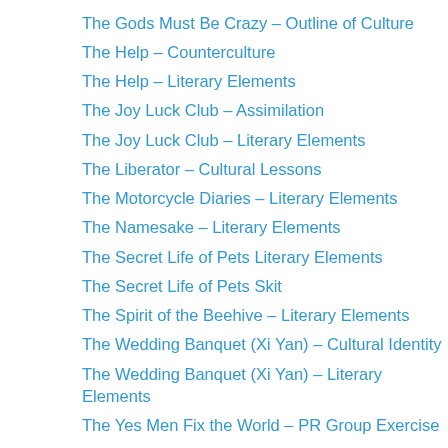The Gods Must Be Crazy – Outline of Culture
The Help – Counterculture
The Help – Literary Elements
The Joy Luck Club – Assimilation
The Joy Luck Club – Literary Elements
The Liberator – Cultural Lessons
The Motorcycle Diaries – Literary Elements
The Namesake – Literary Elements
The Secret Life of Pets Literary Elements
The Secret Life of Pets Skit
The Spirit of the Beehive – Literary Elements
The Wedding Banquet (Xi Yan) – Cultural Identity
The Wedding Banquet (Xi Yan) – Literary Elements
The Yes Men Fix the World – PR Group Exercise
Thor – 5 W's
Twilight – Themes
Unforgiven – Fox Character Analysis Diverging Radial
Unforgiven Literary Elements
Wall Street – Literary Elements
When Harry Met Sally